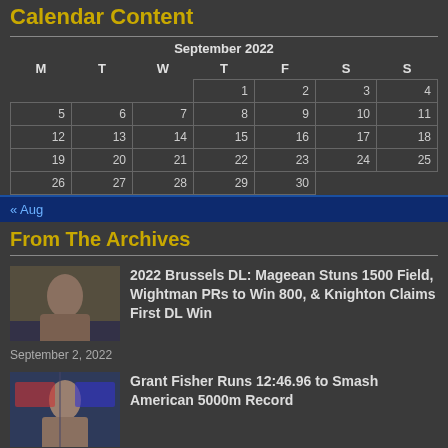Calendar Content
| M | T | W | T | F | S | S |
| --- | --- | --- | --- | --- | --- | --- |
|  |  |  | 1 | 2 | 3 | 4 |
| 5 | 6 | 7 | 8 | 9 | 10 | 11 |
| 12 | 13 | 14 | 15 | 16 | 17 | 18 |
| 19 | 20 | 21 | 22 | 23 | 24 | 25 |
| 26 | 27 | 28 | 29 | 30 |  |  |
« Aug
From The Archives
[Figure (photo): Athlete photo for Brussels DL article]
2022 Brussels DL: Mageean Stuns 1500 Field, Wightman PRs to Win 800, & Knighton Claims First DL Win
September 2, 2022
[Figure (photo): Athlete photo for Grant Fisher article]
Grant Fisher Runs 12:46.96 to Smash American 5000m Record